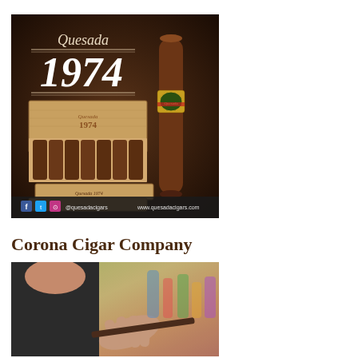[Figure (photo): Advertisement image for Quesada 1974 cigars showing an open wooden cigar box filled with cigars, a single cigar standing upright with a branded band, and the Quesada 1974 logo text. Bottom shows social media handles @quesadacigars and www.quesadacigars.com.]
Corona Cigar Company
[Figure (photo): Photo of a person in a dark jacket holding a cigar, with a colorful blurred background, likely inside a cigar shop.]